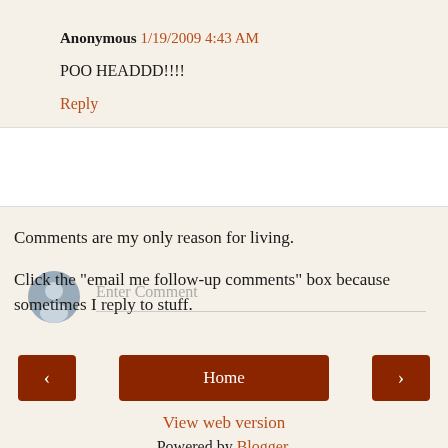Anonymous 1/19/2009 4:43 AM
POO HEADDD!!!!
Reply
[Figure (other): Comment input box with avatar icon and 'Enter Comment' placeholder text]
Comments are my only reason for living.
Click the "email me follow-up comments" box because sometimes I reply to stuff.
< Home >
View web version
Powered by Blogger.